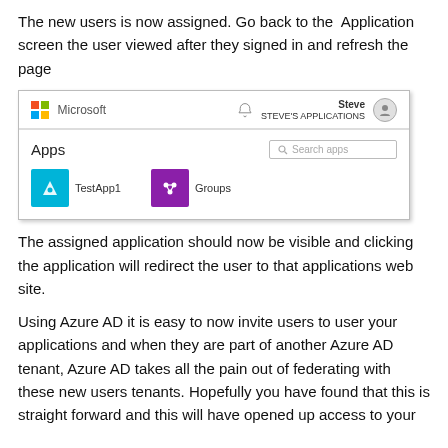The new users is now assigned. Go back to the Application screen the user viewed after they signed in and refresh the page
[Figure (screenshot): Microsoft Azure AD MyApps portal showing Apps page with TestApp1 and Groups tiles, and Steve's user account in the top right]
The assigned application should now be visible and clicking the application will redirect the user to that applications web site.
Using Azure AD it is easy to now invite users to user your applications and when they are part of another Azure AD tenant, Azure AD takes all the pain out of federating with these new users tenants. Hopefully you have found that this is straight forward and this will have opened up access to your